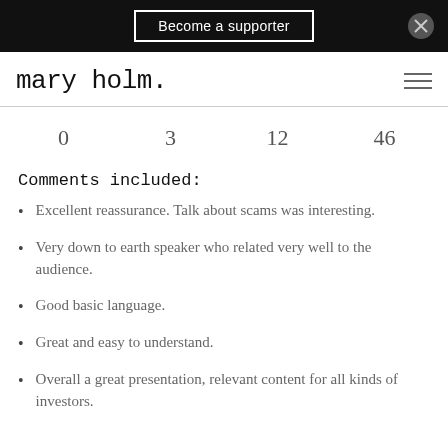Become a supporter
mary holm.
0   3   12   46
Comments included:
Excellent reassurance. Talk about scams was interesting.
Very down to earth speaker who related very well to the audience.
Good basic language.
Great and easy to understand.
Overall a great presentation, relevant content for all kinds of investors.